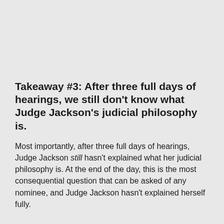Takeaway #3: After three full days of hearings, we still don't know what Judge Jackson's judicial philosophy is.
Most importantly, after three full days of hearings, Judge Jackson still hasn't explained what her judicial philosophy is. At the end of the day, this is the most consequential question that can be asked of any nominee, and Judge Jackson hasn't explained herself fully.